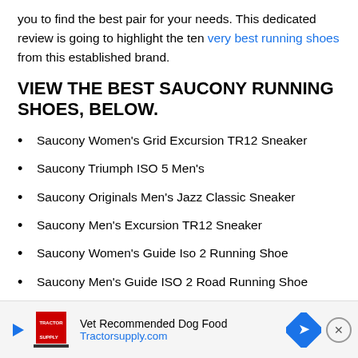you to find the best pair for your needs. This dedicated review is going to highlight the ten very best running shoes from this established brand.
VIEW THE BEST SAUCONY RUNNING SHOES, BELOW.
Saucony Women's Grid Excursion TR12 Sneaker
Saucony Triumph ISO 5 Men's
Saucony Originals Men's Jazz Classic Sneaker
Saucony Men's Excursion TR12 Sneaker
Saucony Women's Guide Iso 2 Running Shoe
Saucony Men's Guide ISO 2 Road Running Shoe
Saucony Men's Kinvara 10 Running Shoe
Saucony Women's Omni ISO
Sau... (partially visible)
Sau... (partially visible)